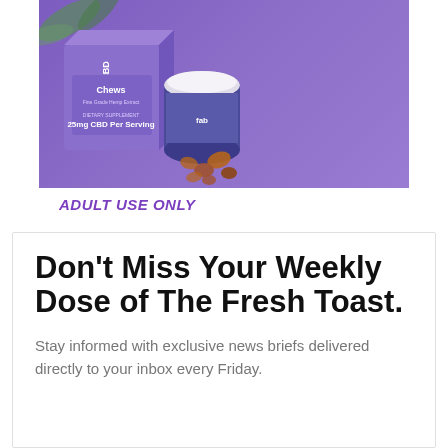[Figure (photo): FAB CBD product photo showing a purple box labeled 'Chews' with '25mg CBD Per Serving' and an open jar with CBD gummies spilled out, on a white marble surface against a purple background. Text reads 'ADULT USE ONLY' at the bottom.]
Don't Miss Your Weekly Dose of The Fresh Toast.
Stay informed with exclusive news briefs delivered directly to your inbox every Friday.